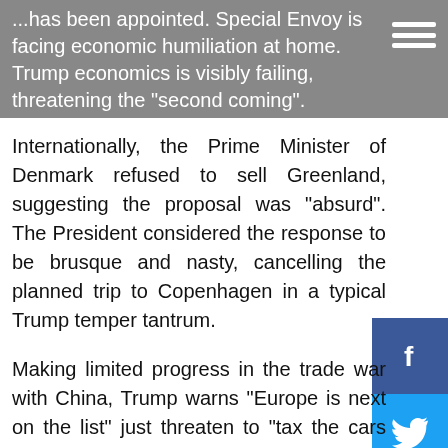...has been appointed. Special Envoy is facing economic humiliation at home. Trump economics is visibly failing, threatening the "second coming".
Internationally, the Prime Minister of Denmark refused to sell Greenland, suggesting the proposal was "absurd". The President considered the response to be brusque and nasty, cancelling the planned trip to Copenhagen in a typical Trump temper tantrum.
Making limited progress in the trade war with China, Trump warns "Europe is next on the list" just threaten to "tax the cars and they will give you anything" the claim. Yes, trade wars are easy and the U.S will win.
The 45...